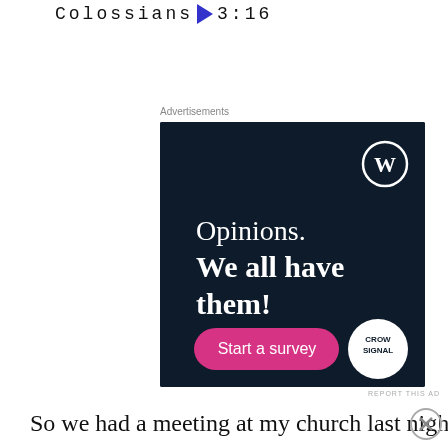Colossians 3:16
Advertisements
[Figure (screenshot): Dark navy blue advertisement banner for Crowdsignal via WordPress. Shows WordPress logo (W in circle) top right, text 'Opinions. We all have them!' in white, a pink 'Start a survey' button bottom left, and Crowdsignal logo bottom right.]
REPORT THIS AD
So we had a meeting at my church last night.
Advertisements
[Figure (screenshot): Orange advertisement banner for DuckDuckGo. Left side orange with text 'Search, browse, and email with more privacy. All in One Free App'. Right side dark with DuckDuckGo duck logo and text 'DuckDuckGo'.]